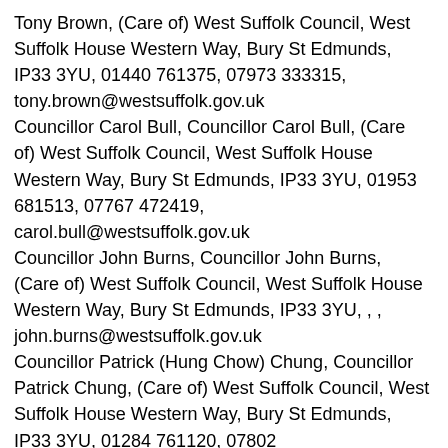Tony Brown, (Care of) West Suffolk Council, West Suffolk House Western Way, Bury St Edmunds, IP33 3YU, 01440 761375, 07973 333315, tony.brown@westsuffolk.gov.uk
Councillor Carol Bull, Councillor Carol Bull, (Care of) West Suffolk Council, West Suffolk House Western Way, Bury St Edmunds, IP33 3YU, 01953 681513, 07767 472419, carol.bull@westsuffolk.gov.uk
Councillor John Burns, Councillor John Burns, (Care of) West Suffolk Council, West Suffolk House Western Way, Bury St Edmunds, IP33 3YU, , , john.burns@westsuffolk.gov.uk
Councillor Patrick (Hung Chow) Chung, Councillor Patrick Chung, (Care of) West Suffolk Council, West Suffolk House Western Way, Bury St Edmunds, IP33 3YU, 01284 761120, 07802